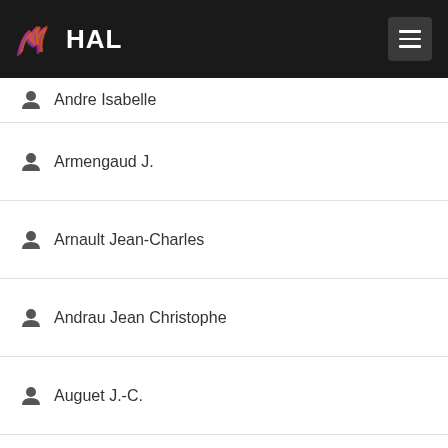HAL
Andre Isabelle
Armengaud J.
Arnault Jean-Charles
Andrau Jean Christophe
Auguet J.-C.
Avarre Jean-Christophe
Arbona Jean-Michel
Andreani Jessica
Baude Jessica
Averous Julien